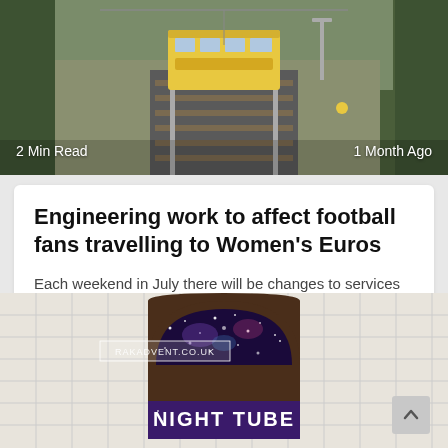[Figure (photo): Train at a railway station platform, viewed from above/behind, with tracks stretching ahead. Overcast sky, green vegetation on the sides.]
2 Min Read
1 Month Ago
Engineering work to affect football fans travelling to Women's Euros
Each weekend in July there will be changes to services between Sheffield and Manchester as work continues on a £145m upgrade of the Hope Valley
[Figure (photo): London Underground Night Tube sign — an arched roundel on white glazed brickwork with 'NIGHT TUBE' text on a purple/space-themed background. RAKADVENT.CO.UK watermark visible.]